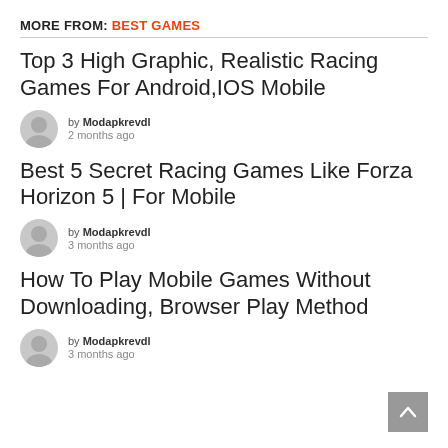MORE FROM: BEST GAMES
Top 3 High Graphic, Realistic Racing Games For Android,IOS Mobile
by Modapkrevdl
2 months ago
Best 5 Secret Racing Games Like Forza Horizon 5 | For Mobile
by Modapkrevdl
3 months ago
How To Play Mobile Games Without Downloading, Browser Play Method
by Modapkrevdl
3 months ago